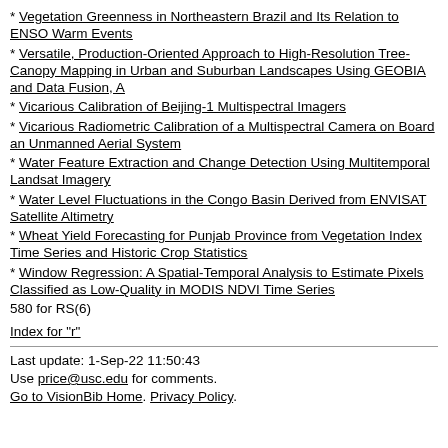* Vegetation Greenness in Northeastern Brazil and Its Relation to ENSO Warm Events
* Versatile, Production-Oriented Approach to High-Resolution Tree-Canopy Mapping in Urban and Suburban Landscapes Using GEOBIA and Data Fusion, A
* Vicarious Calibration of Beijing-1 Multispectral Imagers
* Vicarious Radiometric Calibration of a Multispectral Camera on Board an Unmanned Aerial System
* Water Feature Extraction and Change Detection Using Multitemporal Landsat Imagery
* Water Level Fluctuations in the Congo Basin Derived from ENVISAT Satellite Altimetry
* Wheat Yield Forecasting for Punjab Province from Vegetation Index Time Series and Historic Crop Statistics
* Window Regression: A Spatial-Temporal Analysis to Estimate Pixels Classified as Low-Quality in MODIS NDVI Time Series
580 for RS(6)
Index for "r"
Last update: 1-Sep-22 11:50:43
Use price@usc.edu for comments.
Go to VisionBib Home. Privacy Policy.